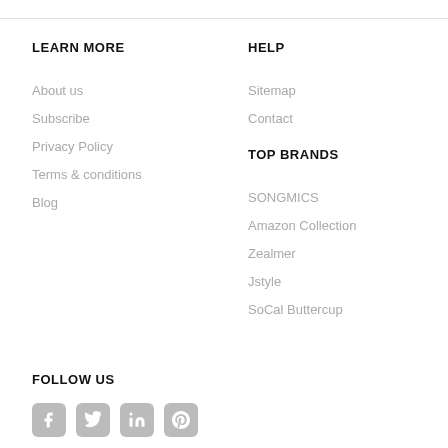LEARN MORE
About us
Subscribe
Privacy Policy
Terms & conditions
Blog
HELP
Sitemap
Contact
TOP BRANDS
SONGMICS
Amazon Collection
Zealmer
Jstyle
SoCal Buttercup
FOLLOW US
[Figure (other): Social media icons: Facebook, Twitter, LinkedIn, Pinterest]